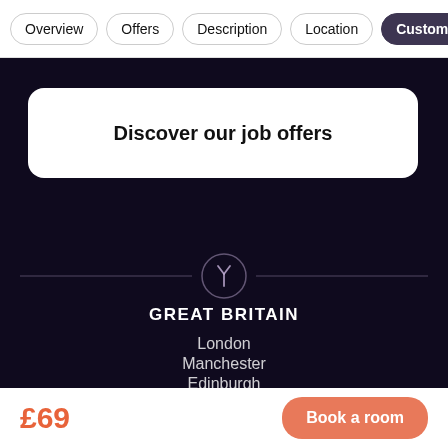Overview | Offers | Description | Location | Customer
Discover our job offers
[Figure (logo): Circular logo/icon with a stylized letter Y on dark background, flanked by horizontal divider lines]
GREAT BRITAIN
London
Manchester
Edinburgh
£69
Book a room